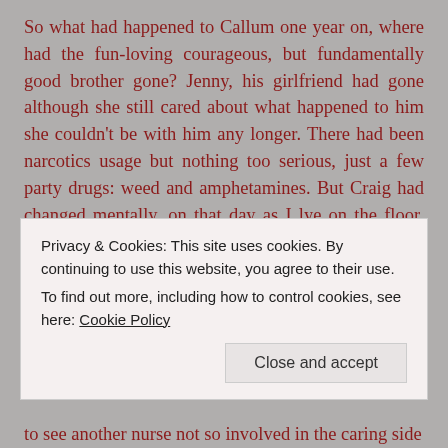So what had happened to Callum one year on, where had the fun-loving courageous, but fundamentally good brother gone? Jenny, his girlfriend had gone although she still cared about what happened to him she couldn't be with him any longer. There had been narcotics usage but nothing too serious, just a few party drugs: weed and amphetamines. But Craig had changed mentally, on that day as I lye on the floor, the droplets of blood multiplying watching him walk away eyes glazed over, there was something severely wrong.
Privacy & Cookies: This site uses cookies. By continuing to use this website, you agree to their use.
To find out more, including how to control cookies, see here: Cookie Policy
Close and accept
to see another nurse not so involved in the caring side